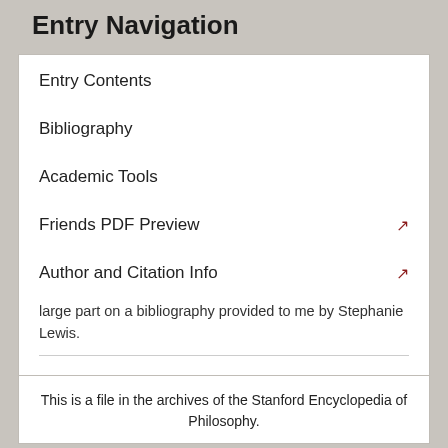Entry Navigation
Entry Contents
Bibliography
Academic Tools
Friends PDF Preview
Author and Citation Info
large part on a bibliography provided to me by Stephanie Lewis.
Copyright © 2014 by Brian Weatherson <brian@weatherson.org>
This is a file in the archives of the Stanford Encyclopedia of Philosophy.